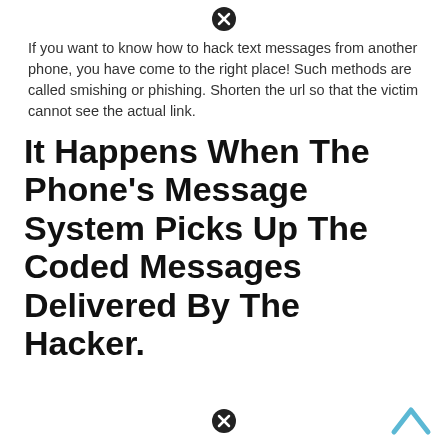[Figure (other): Close/X button icon at top center]
If you want to know how to hack text messages from another phone, you have come to the right place! Such methods are called smishing or phishing. Shorten the url so that the victim cannot see the actual link.
It Happens When The Phone's Message System Picks Up The Coded Messages Delivered By The Hacker.
[Figure (other): Close/X button icon at bottom center]
[Figure (other): Blue chevron/up arrow at bottom right]